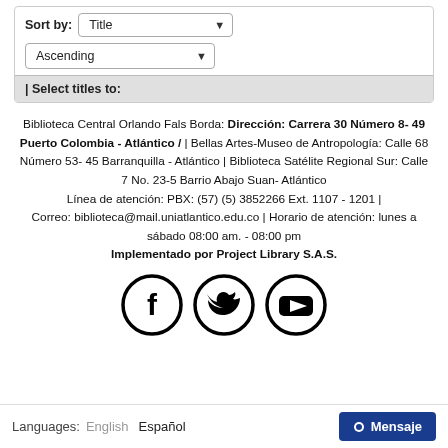[Figure (screenshot): UI widget showing Sort by Title dropdown and Ascending dropdown, with a Select titles to: bar below]
Biblioteca Central Orlando Fals Borda: Dirección: Carrera 30 Número 8- 49 Puerto Colombia - Atlántico / | Bellas Artes-Museo de Antropología: Calle 68 Número 53- 45 Barranquilla - Atlántico | Biblioteca Satélite Regional Sur: Calle 7 No. 23-5 Barrio Abajo Suan- Atlántico
Línea de atención: PBX: (57) (5) 3852266 Ext. 1107 - 1201 | Correo: biblioteca@mail.uniatlantico.edu.co | Horario de atención: lunes a sábado 08:00 am. - 08:00 pm
Implementado por Project Library S.A.S.
[Figure (illustration): Three social media icons in circles: Facebook (f), Twitter (bird), YouTube (play button)]
Languages:  English  Español  ● Mensaje